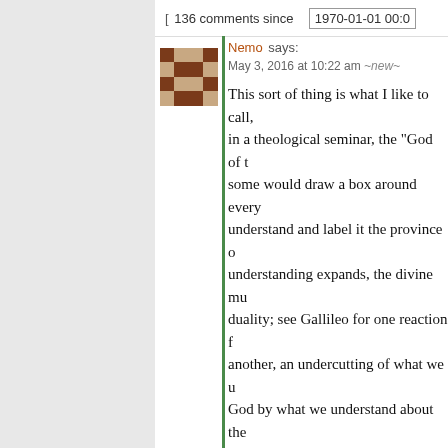[ 136 comments since   1970-01-01 00:0
Nemo says:
May 3, 2016 at 10:22 am ~new~
This sort of thing is what I like to call, in a theological seminar, the "God of t... some would draw a box around every... understand and label it the province o... understanding expands, the divine mu... duality; see Gallileo for one reaction f... another, an undercutting of what we u... God by what we understand about the... of both. Bad science, and worse theol...
I think AST's tendency is to break thin... categories: what he understands (eg. ... algorithmically), what he understands ... mechanics of (eg. Names), and things... but that's not going to stop him (eg. h... Ana).